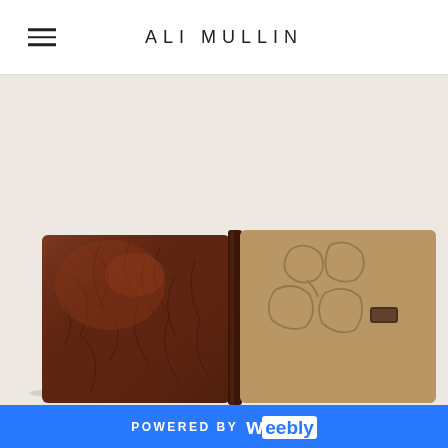ALI MULLIN
[Figure (photo): A leather journal/notebook lying open, showing the dark brown glossy front cover on the left with cracked texture and the tan suede back cover on the right with embossed floral outlines and a small leather tab clasp, photographed on a cream background.]
POWERED BY weebly